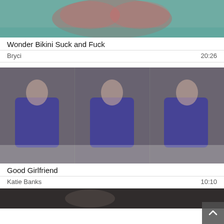[Figure (photo): Thumbnail image for Wonder Bikini Suck and Fuck video, woman in red bikini in water]
Wonder Bikini Suck and Fuck
Bryci   20:26
[Figure (photo): Thumbnail image for Good Girlfriend video, woman in blue outfit on bed, three panel composite]
Good Girlfriend
Katie Banks   10:10
[Figure (photo): Partial thumbnail of a third video at the bottom of the page]